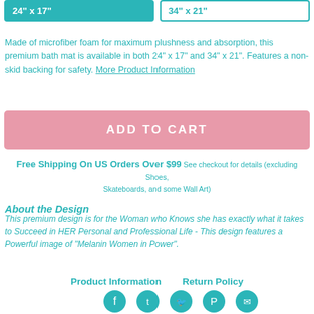24" x 17"
34" x 21"
Made of microfiber foam for maximum plushness and absorption, this premium bath mat is available in both 24" x 17" and 34" x 21". Features a non-skid backing for safety. More Product Information
ADD TO CART
Free Shipping On US Orders Over $99 See checkout for details (excluding Shoes, Skateboards, and some Wall Art)
About the Design
This premium design is for the Woman who Knows she has exactly what it takes to Succeed in HER Personal and Professional Life - This design features a Powerful image of "Melanin Women in Power".
Product Information    Return Policy
[Figure (illustration): Social media icons: Facebook, Tumblr, Twitter, Pinterest, Email - circular teal buttons]